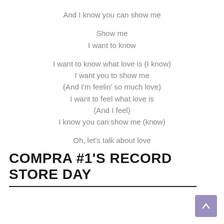And I know you can show me

Show me
I want to know

I want to know what love is (I know)
I want you to show me
(And I'm feelin' so much love)
I want to feel what love is
(And I feel)
I know you can show me (know)

Oh, let's talk about love
COMPRA #1'S RECORD STORE DAY